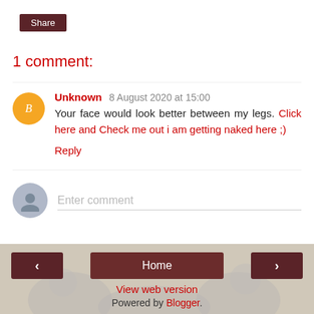Share
1 comment:
Unknown 8 August 2020 at 15:00
Your face would look better between my legs. Click here and Check me out i am getting naked here ;)
Reply
Enter comment
Home | View web version | Powered by Blogger.